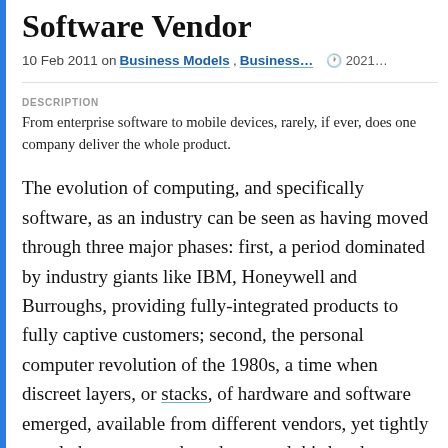Software Vendor
10 Feb 2011 on Business Models, Business… 🕐 2021…
DESCRIPTION
From enterprise software to mobile devices, rarely, if ever, does one company deliver the whole product.
The evolution of computing, and specifically software, as an industry can be seen as having moved through three major phases: first, a period dominated by industry giants like IBM, Honeywell and Burroughs, providing fully-integrated products to fully captive customers; second, the personal computer revolution of the 1980s, a time when discreet layers, or stacks, of hardware and software emerged, available from different vendors, yet tightly coupled to create end products; and third and presently, the emergence of technology ecosystems, like those of Apple, LAMP or Microsoft—entire communities and